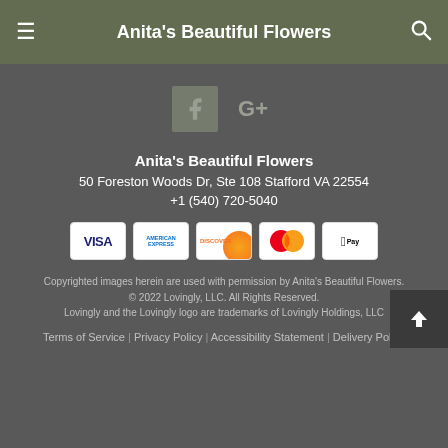Anita's Beautiful Flowers
[Figure (logo): Facebook icon (f) and Google+ icon side by side]
Anita's Beautiful Flowers
50 Foreston Woods Dr, Ste 108 Stafford VA 22554
+1 (540) 720-5040
[Figure (other): Payment method icons: VISA, American Express, Discover, MasterCard, Apple Pay]
Copyrighted images herein are used with permission by Anita's Beautiful Flowers.
© 2022 Lovingly, LLC. All Rights Reserved.
Lovingly and the Lovingly logo are trademarks of Lovingly Holdings, LLC
Terms of Service | Privacy Policy | Accessibility Statement | Delivery Policy